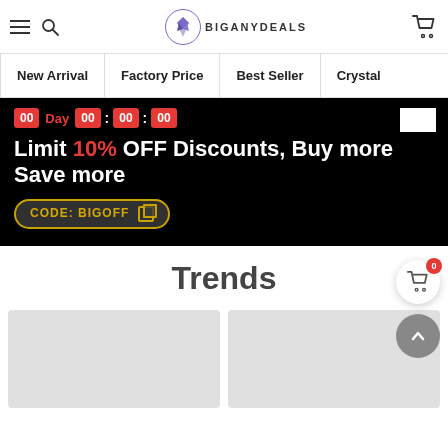[Figure (screenshot): Website header with hamburger menu, search icon, BIGANYDEALS logo with crystal icon, and shopping cart icon]
New Arrival
Factory Price
Best Seller
Crystal
[Figure (infographic): Promotional countdown banner: 00 Day 00 : 00 : 00. Limit 10% OFF Discounts, Buy more Save more. CODE: BIGOFF]
Trends
[Figure (photo): Product image placeholder left]
[Figure (photo): Product image placeholder right]